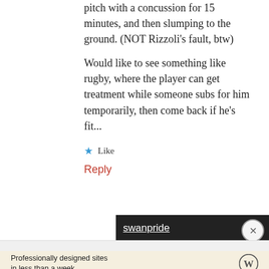pitch with a concussion for 15 minutes, and then slumping to the ground. (NOT Rizzoli's fault, btw)
Would like to see something like rugby, where the player can get treatment while someone subs for him temporarily, then come back if he's fit...
★ Like
Reply
swanpride
Advertisements
Professionally designed sites in less than a week